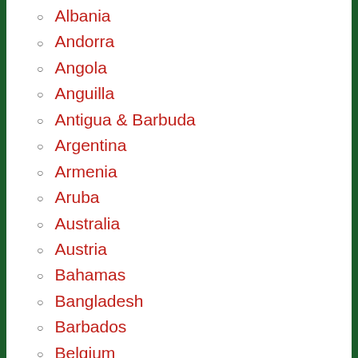Albania
Andorra
Angola
Anguilla
Antigua & Barbuda
Argentina
Armenia
Aruba
Australia
Austria
Bahamas
Bangladesh
Barbados
Belgium
Benin
Bhutan
Belize
Bermuda
Bonaire
Bosnia and Herzegovina